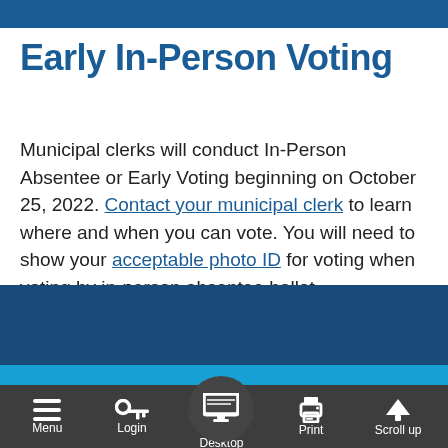Early In-Person Voting
Municipal clerks will conduct In-Person Absentee or Early Voting beginning on October 25, 2022. Contact your municipal clerk to learn where and when you can vote. You will need to show your acceptable photo ID for voting when voting by in-person absentee ballot.
Menu | Login | Desktop | Print | Scroll up